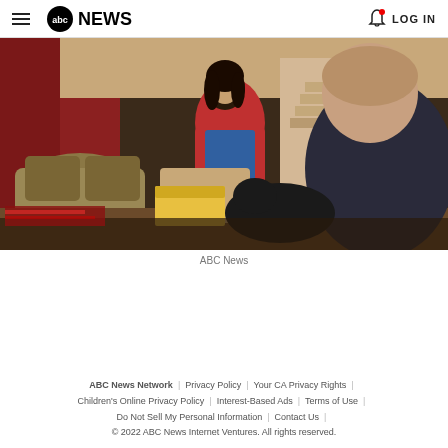ABC NEWS | LOG IN
[Figure (photo): Two people sitting in a living room, a woman in a red jacket holding photos from a yellow box, and a man in a dark shirt in the foreground with a black dog]
ABC News
ABC News Network | Privacy Policy | Your CA Privacy Rights | Children's Online Privacy Policy | Interest-Based Ads | Terms of Use | Do Not Sell My Personal Information | Contact Us | © 2022 ABC News Internet Ventures. All rights reserved.